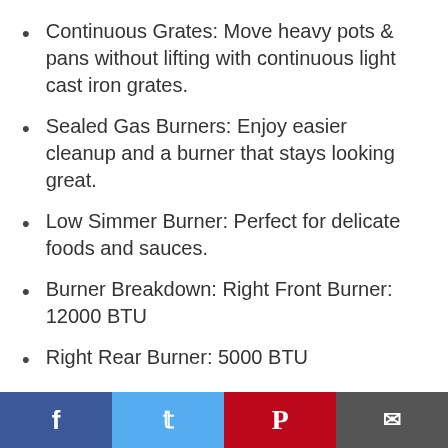Continuous Grates: Move heavy pots & pans without lifting with continuous light cast iron grates.
Sealed Gas Burners: Enjoy easier cleanup and a burner that stays looking great.
Low Simmer Burner: Perfect for delicate foods and sauces.
Burner Breakdown: Right Front Burner: 12000 BTU
Right Rear Burner: 5000 BTU
Center Burner: 15000 BTU
Left Front Burner: 9500 BTU
Facebook | Twitter | Pinterest | Email